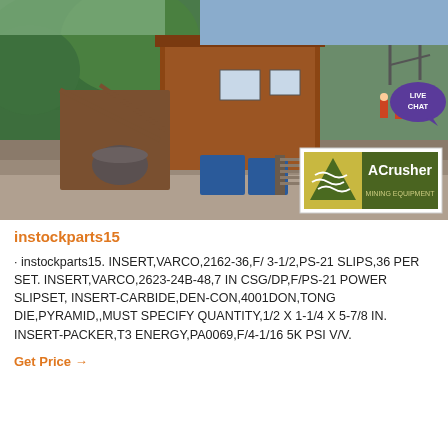[Figure (photo): Mining/crushing equipment facility photo showing a large industrial ore processing plant with orange/brown metal structure, conveyor belts, workers, and green forested hillside in background. ACrusher Mining Equipment logo overlay in bottom right.]
instockparts15
· instockparts15. INSERT,VARCO,2162-36,F/ 3-1/2,PS-21 SLIPS,36 PER SET. INSERT,VARCO,2623-24B-48,7 IN CSG/DP,F/PS-21 POWER SLIPSET, INSERT-CARBIDE,DEN-CON,4001DON,TONG DIE,PYRAMID,,MUST SPECIFY QUANTITY,1/2 X 1-1/4 X 5-7/8 IN. INSERT-PACKER,T3 ENERGY,PA0069,F/4-1/16 5K PSI V/V.
Get Price →